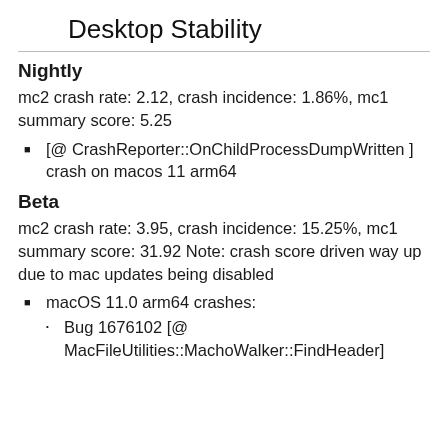Desktop Stability
Nightly
mc2 crash rate: 2.12, crash incidence: 1.86%, mc1 summary score: 5.25
[@ CrashReporter::OnChildProcessDumpWritten ] crash on macos 11 arm64
Beta
mc2 crash rate: 3.95, crash incidence: 15.25%, mc1 summary score: 31.92 Note: crash score driven way up due to mac updates being disabled
macOS 11.0 arm64 crashes:
Bug 1676102 [@ MacFileUtilities::MachoWalker::FindHeader]